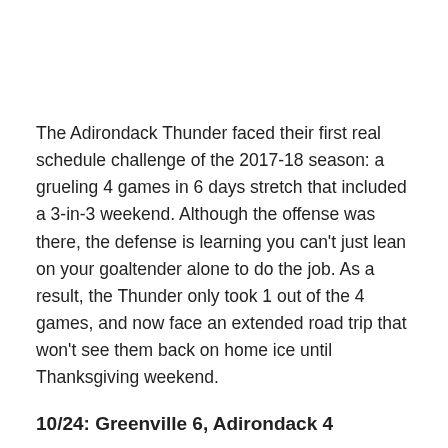The Adirondack Thunder faced their first real schedule challenge of the 2017-18 season: a grueling 4 games in 6 days stretch that included a 3-in-3 weekend. Although the offense was there, the defense is learning you can't just lean on your goaltender alone to do the job. As a result, the Thunder only took 1 out of the 4 games, and now face an extended road trip that won't see them back on home ice until Thanksgiving weekend.
10/24: Greenville 6, Adirondack 4
Scoresheet